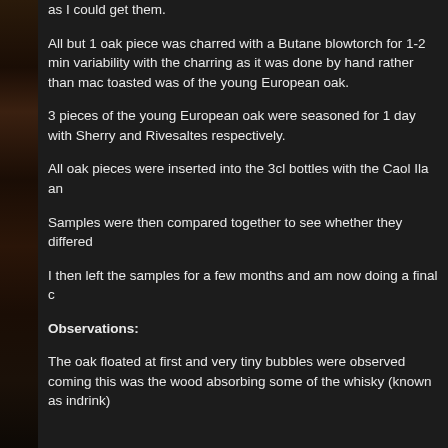as I could get them.
All but 1 oak piece was charred with a Butane blowtorch for 1-2 min variability with the charring as it was done by hand rather than mac toasted was of the young European oak.
3 pieces of the young European oak were seasoned for 1 day with Sherry and Rivesaltes respectively.
All oak pieces were inserted into the 3cl bottles with the Caol Ila an
Samples were then compared together to see whether they differed
I then left the samples for a few months and am now doing a final c
Observations:
The oak floated at first and very tiny bubbles were observed coming this was the wood absorbing some of the whisky (known as indrink)